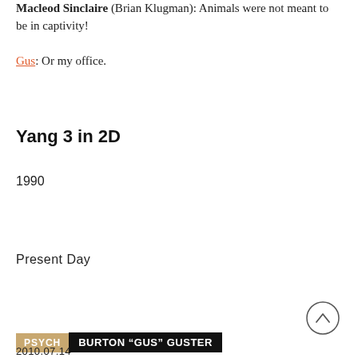Macleod Sinclaire (Brian Klugman): Animals were not meant to be in captivity!
Gus: Or my office.
Yang 3 in 2D
1990
Present Day
PSYCH  BURTON "GUS" GUSTER
2010.07.14